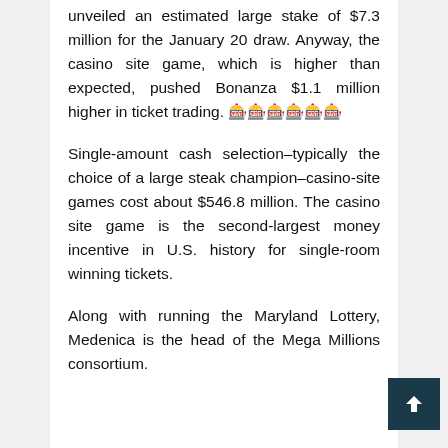unveiled an estimated large stake of $7.3 million for the January 20 draw. Anyway, the casino site game, which is higher than expected, pushed Bonanza $1.1 million higher in ticket trading. 🎰🎰🎰🎰🎰🎰
Single-amount cash selection–typically the choice of a large steak champion–casino-site games cost about $546.8 million. The casino site game is the second-largest money incentive in U.S. history for single-room winning tickets.
Along with running the Maryland Lottery, Medenica is the head of the Mega Millions consortium.